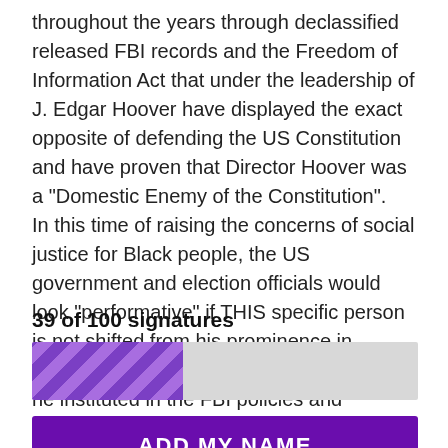throughout the years through declassified released FBI records and the Freedom of Information Act that under the leadership of J. Edgar Hoover have displayed the exact opposite of defending the US Constitution and have proven that Director Hoover was a "Domestic Enemy of the Constitution". In this time of raising the concerns of social justice for Black people, the US government and election officials would look "performative" if THIS specific person is not shifted from his prominence in government based on the legacy of racism he instituted in the FBI policies and procedures.
39 of 100 signatures
[Figure (infographic): Progress bar showing 39 of 100 signatures, approximately 39% filled with a purple diagonal stripe pattern on a light gray background]
ADD MY NAME